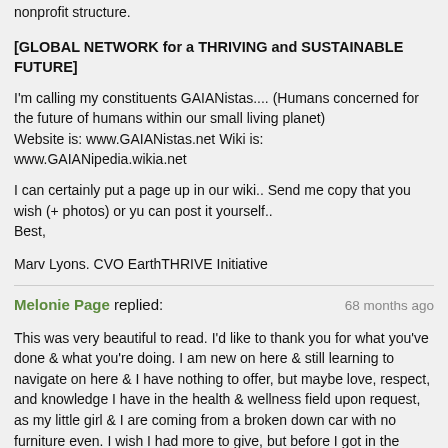nonprofit structure.
[GLOBAL NETWORK for a THRIVING and SUSTAINABLE FUTURE]
I'm calling my constituents GAIANistas.... (Humans concerned for the future of humans within our small living planet)
Website is: www.GAIANistas.net Wiki is: www.GAIANipedia.wikia.net
I can certainly put a page up in our wiki.. Send me copy that you wish (+ photos) or yu can post it yourself..
Best,
Marv Lyons. CVO EarthTHRIVE Initiative
Melonie Page replied:   68 months ago
This was very beautiful to read. I'd like to thank you for what you've done & what you're doing. I am new on here & still learning to navigate on here & I have nothing to offer, but maybe love, respect, and knowledge I have in the health & wellness field upon request, as my little girl & I are coming from a broken down car with no furniture even. I wish I had more to give, but before I got in the situation I was in, I had actually donated all my stuff, so I can live a simple lifestyle, but now having custody of my niece no longer permits me to do so. Thank you once